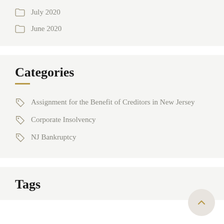July 2020
June 2020
Categories
Assignment for the Benefit of Creditors in New Jersey
Corporate Insolvency
NJ Bankruptcy
Tags